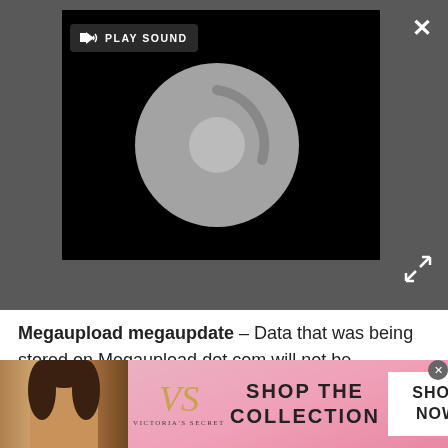[Figure (screenshot): Dark gray browser UI bar with embedded black video player. Player shows a loading spinner circle in gray. 'PLAY SOUND' button with speaker icon at top left of player. White X close button at top right. Expand/fullscreen arrows at bottom right of bar.]
Megaupload megaupdate – Data that was being stored on Megaupload dot com will not be destroyed yet as a judge metaphorically takes all associated parties and locks them in a room until they all start getting along. [cnet]
[Figure (screenshot): Advertisement section with label 'Advertisement', an X close button, and partial view of a product ad showing 'Drones' brand name in large serif type with 'NEW' badge.]
[Figure (screenshot): Victoria's Secret bottom banner ad with model on left, VS monogram logo, 'VICTORIA'S SECRET' text, 'SHOP THE COLLECTION' copy in bold, and a 'SHOP NOW' white button on right. Pink gradient background.]